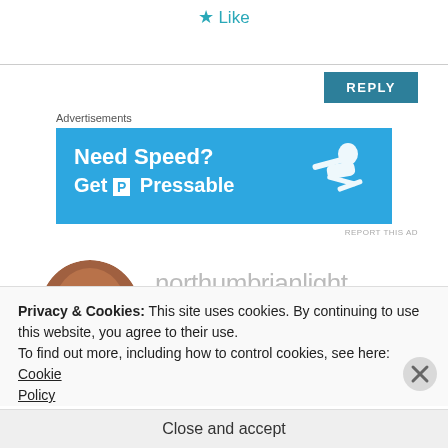★ Like
REPLY
Advertisements
[Figure (screenshot): Advertisement banner with blue background reading 'Need Speed? Get P Pressable' with a running/flying person silhouette]
REPORT THIS AD
[Figure (photo): Circular avatar photo of a meerkat/rodent animal with human-like face features]
northumbrianlight
AUGUST 21, 2013 AT 11:07 AM
Privacy & Cookies: This site uses cookies. By continuing to use this website, you agree to their use.
To find out more, including how to control cookies, see here: Cookie Policy
Close and accept